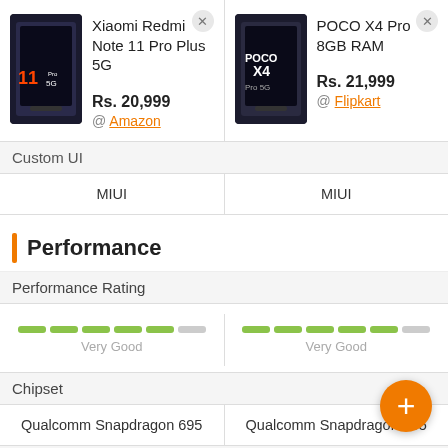| Xiaomi Redmi Note 11 Pro Plus 5G | POCO X4 Pro 8GB RAM |
| --- | --- |
| Rs. 20,999 @ Amazon | Rs. 21,999 @ Flipkart |
| Custom UI |  |
| MIUI | MIUI |
| Performance Rating |  |
| Very Good | Very Good |
| Chipset |  |
| Qualcomm Snapdragon 695 | Qualcomm Snapdragon 695 |
| CPU |  |
| Octa core | Octa core |
| 2.2 GHz, Dual core, Kryo 660 | 2.2 GHz, Dual core, Kryo 660 |
Performance